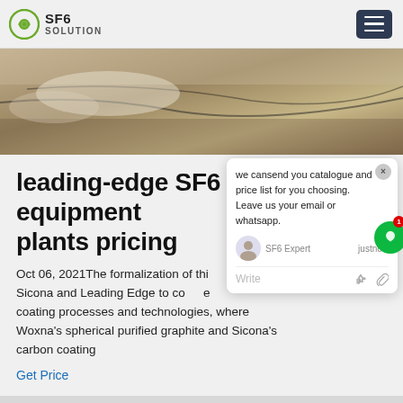SF6 SOLUTION
[Figure (photo): Industrial/electrical equipment photo with cables and white material, top banner image]
leading-edge SF6 equipment plants pricing
Oct 06, 2021The formalization of this agreement allows Woxna and Sicona and Leading Edge to combine their respective graphite coating processes and technologies, where Woxna's spherical purified graphite and Sicona's carbon coating
Get Price